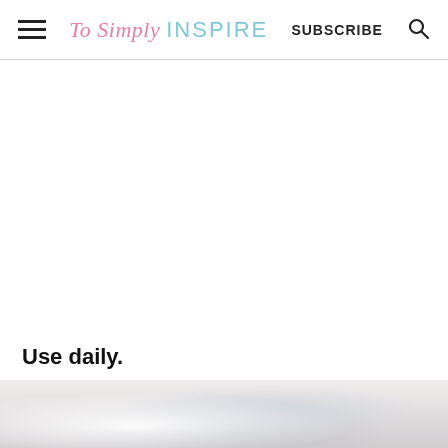To Simply INSPIRE  SUBSCRIBE
Use daily.
[Figure (photo): Blurred white and grey bokeh background image, partially visible at bottom of page]